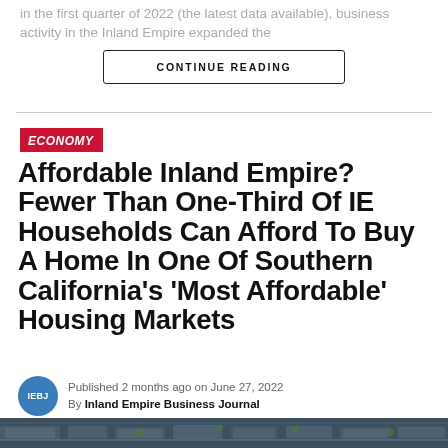in the first quarter of 2022 (the latest data available), business activity in the Inland Empire expanded the
CONTINUE READING
ECONOMY
Affordable Inland Empire? Fewer Than One-Third Of IE Households Can Afford To Buy A Home In One Of Southern California’s ‘Most Affordable’ Housing Markets
Published 2 months ago on June 27, 2022
By Inland Empire Business Journal
[Figure (photo): Aerial view of residential neighborhood with houses and streets, partially cropped at bottom of page]